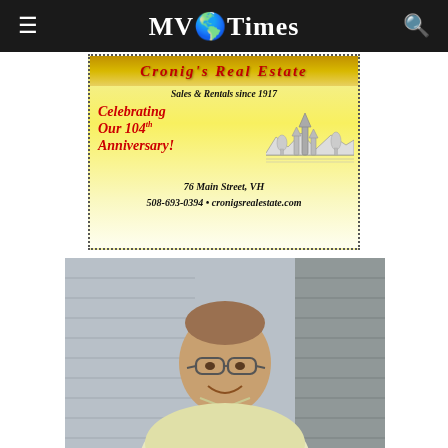MV Times
[Figure (advertisement): Cronig's Real Estate advertisement. Sales & Rentals since 1917. Celebrating Our 104th Anniversary! 76 Main Street, VH. 508-693-0394 • cronigsrealestate.com. Yellow gradient background with dotted border and sketch of landscape with trees and water.]
[Figure (photo): Photo of an elderly man smiling, wearing glasses and a light yellow button-up shirt, standing outdoors near a grey-sided building.]